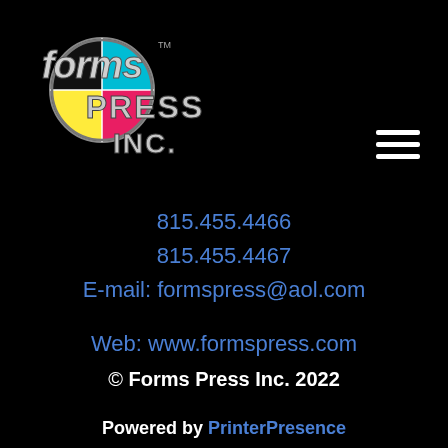[Figure (logo): Forms Press Inc. logo with colorful circle graphic and stylized text reading 'forms PRESS INC.' with TM mark]
815.455.4466
815.455.4467
E-mail: formspress@aol.com
Web: www.formspress.com
© Forms Press Inc. 2022
Powered by PrinterPresence